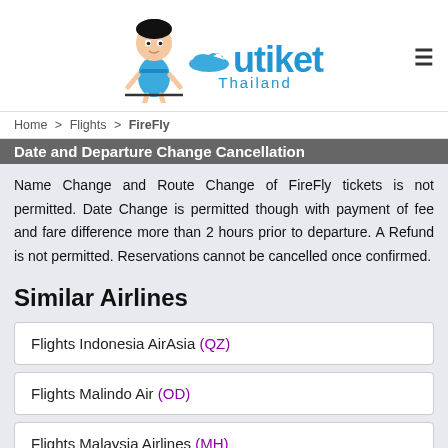utiket Thailand
Home > Flights > FireFly
Name Change and Route Change of FireFly tickets is not permitted. Date Change is permitted though with payment of fee and fare difference more than 2 hours prior to departure. A Refund is not permitted. Reservations cannot be cancelled once confirmed.
Similar Airlines
Flights Indonesia AirAsia (QZ)
Flights Malindo Air (OD)
Flights Malaysia Airlines (MH)